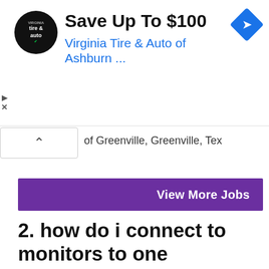[Figure (screenshot): Advertisement banner for Virginia Tire & Auto showing logo, 'Save Up To $100' headline, and blue subtitle 'Virginia Tire & Auto of Ashburn ...' with a blue diamond navigation icon on the right.]
of Greenville, Greenville, Tex
View More Jobs
2. how do i connect to monitors to one computer so t – Best Buy
how do i connect to monitors to one computer so that they can run You'll need any dual-head video card or a USB